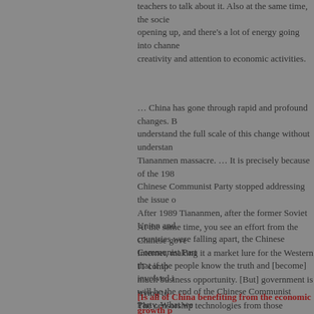teachers to talk about it. Also at the same time, the society is opening up, and there's a lot of energy going into channeling creativity and attention to economic activities.
… China has gone through rapid and profound changes. But you understand the full scale of this change without understanding the Tiananmen massacre. … It is precisely because of the 1989 that Chinese Communist Party stopped addressing the issue of … After 1989 Tiananmen, after the former Soviet Union and Eastern countries were falling apart, the Chinese Communist Party decided that if the people know the truth and [become] involved in politics, will be the end of the Chinese Communist Party. What we are seeing is all the business activity being encouraged, including the internet technologies. We see even Internet and the cell phones and are all flourishing in China because that is a business imperative.
At the same time, you see an effort from the Chinese government Internet, making it a market lure for the Western IT companies as much business opportunity. [But] government is trying to censor it. The censorship technologies from those Western corporations as business opportunity. I think there is a very serious ethical question [about] the social responsibility of those corporations. …
[Is all of China benefiting from the economic growth p